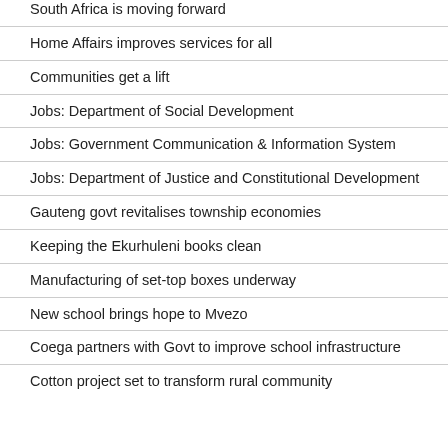South Africa is moving forward
Home Affairs improves services for all
Communities get a lift
Jobs: Department of Social Development
Jobs: Government Communication & Information System
Jobs: Department of Justice and Constitutional Development
Gauteng govt revitalises township economies
Keeping the Ekurhuleni books clean
Manufacturing of set-top boxes underway
New school brings hope to Mvezo
Coega partners with Govt to improve school infrastructure
Cotton project set to transform rural community